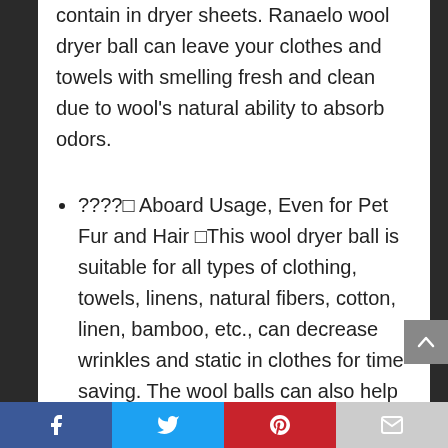contain in dryer sheets. Ranaelo wool dryer ball can leave your clothes and towels with smelling fresh and clean due to wool's natural ability to absorb odors.
????□ Aboard Usage, Even for Pet Fur and Hair □This wool dryer ball is suitable for all types of clothing, towels, linens, natural fibers, cotton, linen, bamboo, etc., can decrease wrinkles and static in clothes for time saving. The wool balls can also help to knock off unwanted pet hair from your clothes.
Facebook | Twitter | Pinterest | Email